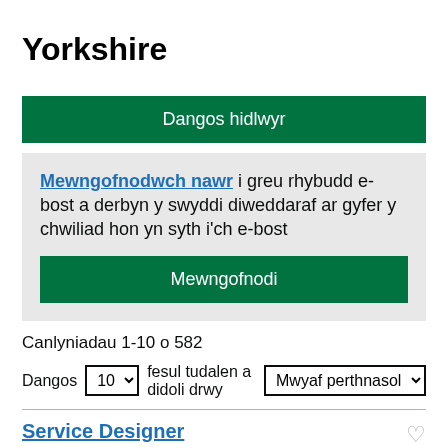Yorkshire
Dangos hidlwyr
Mewngofnodwch nawr i greu rhybudd e-bost a derbyn y swyddi diweddaraf ar gyfer y chwiliad hon yn syth i'ch e-bost
Mewngofnodi
Canlyniadau 1-10 o 582
Dangos 10 fesul tudalen a didoli drwy Mwyaf perthnasol
Service Designer
28 July 2022